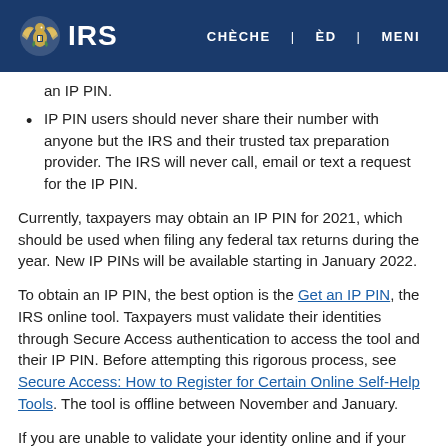IRS | CHÈCHE | ÈD | MENI
an IP PIN.
IP PIN users should never share their number with anyone but the IRS and their trusted tax preparation provider. The IRS will never call, email or text a request for the IP PIN.
Currently, taxpayers may obtain an IP PIN for 2021, which should be used when filing any federal tax returns during the year. New IP PINs will be available starting in January 2022.
To obtain an IP PIN, the best option is the Get an IP PIN, the IRS online tool. Taxpayers must validate their identities through Secure Access authentication to access the tool and their IP PIN. Before attempting this rigorous process, see Secure Access: How to Register for Certain Online Self-Help Tools. The tool is offline between November and January.
If you are unable to validate your identity online and if your income is $72,000 or less, you may file Form 15227, Application for an Identity Protection Personal Identification Number [PDF]. The IRS will call the telephone number provided on Form 15227 to validate your identity. However, for security